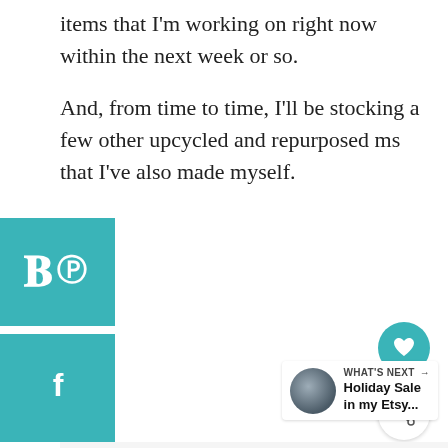items that I'm working on right now within the next week or so.
And, from time to time, I'll be stocking a few other upcycled and repurposed items that I've also made myself.
[Figure (other): Pinterest social share button (teal square with white P icon)]
[Figure (other): Facebook social share button (teal square with white f icon)]
[Figure (other): Teal circular heart/save button on the right side]
[Figure (other): White circular share button on the right side]
[Figure (other): What's Next card with circular thumbnail image and text: WHAT'S NEXT → Holiday Sale in my Etsy...]